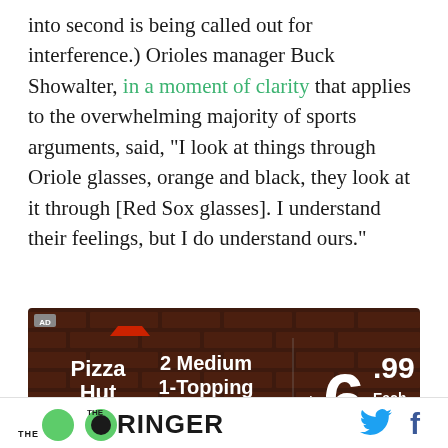into second is being called out for interference.) Orioles manager Buck Showalter, in a moment of clarity that applies to the overwhelming majority of sports arguments, said, “I look at things through Oriole glasses, orange and black, they look at it through [Red Sox glasses]. I understand their feelings, but I do understand ours.”
[Figure (other): Pizza Hut advertisement: 2 Medium 1-Topping Pizzas $6.99 Each Carryout Only, with brick wall background and Pizza Hut logo]
THE RINGER [Twitter icon] [Facebook icon]